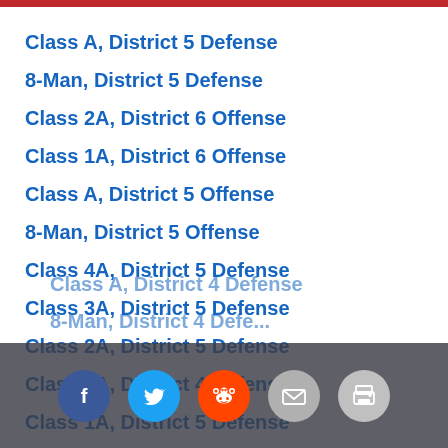Class A, District 5 Defense
8-Man, District 5 Defense
Class 2A, District 6 Offense
Class 1A, District 6 Offense
Class A, District 5 Offense
8-Man, District 5 Offense
Class 4A, District 5 Defense
Class 3A, District 5 Defense
Class 2A, District 5 Defense
Class 1A, District 4 Defense
Class 1A, District 5 Defense
Class A, District 4 Defense
8-Man, District 4 Defense